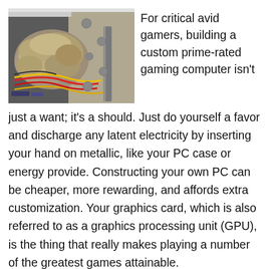[Figure (photo): Interior of a computer case filled with thick dust buildup covering components, wires, and fans. Visible red, yellow, and black cables. Very dirty/dusty PC internals.]
For critical avid gamers, building a custom prime-rated gaming computer isn't just a want; it's a should. Just do yourself a favor and discharge any latent electricity by inserting your hand on metallic, like your PC case or energy provide. Constructing your own PC can be cheaper, more rewarding, and affords extra customization. Your graphics card, which is also referred to as a graphics processing unit (GPU), is the thing that really makes playing a number of the greatest games attainable.